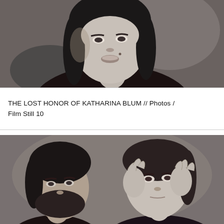[Figure (photo): Black and white film still photograph of a woman with dark shoulder-length hair, looking intensely at the camera in close-up portrait.]
THE LOST HONOR OF KATHARINA BLUM // Photos / Film Still 10
[Figure (photo): Black and white film still photograph showing a bearded man on the left and a woman on the right pressing both hands against her head/ears, appearing distressed.]